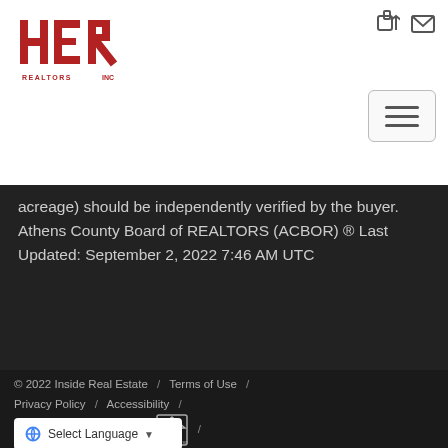[Figure (logo): HER Realtors logo in red with stylized letters H, E, R]
[Figure (other): Login and mail icons in top right header]
[Figure (other): Hamburger menu button (three horizontal lines) in a rounded rectangle]
acreage) should be independently verified by the buyer. Athens County Board of REALTORS (ACBOR) #reg; Last Updated: September 2, 2022 7:46 AM UTC
© 2022 Inside Real Estate / Terms of Use / Privacy Policy / Accessibility / Fair Housing Statement /
[Figure (logo): Equal Housing Opportunity logo]
[Figure (other): Google Translate Select Language widget]